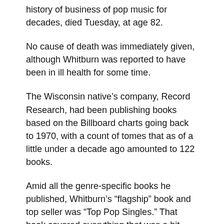history of business of pop music for decades, died Tuesday, at age 82.
No cause of death was immediately given, although Whitburn was reported to have been in ill health for some time.
The Wisconsin native's company, Record Research, had been publishing books based on the Billboard charts going back to 1970, with a count of tomes that as of a little under a decade ago amounted to 122 books.
Amid all the genre-specific books he published, Whitburn's “flagship” book and top seller was “Top Pop Singles.” That book covered everything that was a hit from 1955 forward, with Whitburn throwing in three years worth of mid-’50s stats from a chart that predated the Hot 100’s beginning in 1958 because he “wanted to include that early rock ‘n’ roll history.” But he was never under the delusion that music started with Elvis Presley, as evidenced by his also having publishing a book titled “Pop